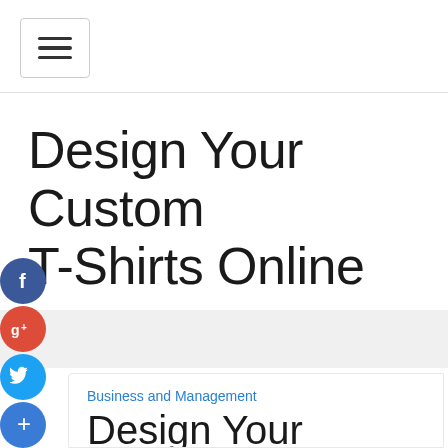[Figure (other): Hamburger menu button icon with three horizontal lines inside a rounded rectangle border]
Design Your Custom T-Shirts Online
[Figure (other): Social media share icons: Facebook (blue circle with f), Google+ (red circle with g+), Twitter (blue circle with bird), Add/Plus (blue circle with +)]
Business and Management
Design Your Custom T-Shirts